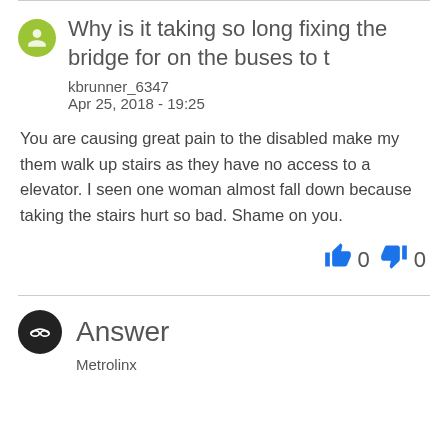Why is it taking so long fixing the bridge for on the buses to t
kbrunner_6347
Apr 25, 2018 - 19:25
You are causing great pain to the disabled make my them walk up stairs as they have no access to a elevator. I seen one woman almost fall down because taking the stairs hurt so bad. Shame on you.
Answer
Metrolinx